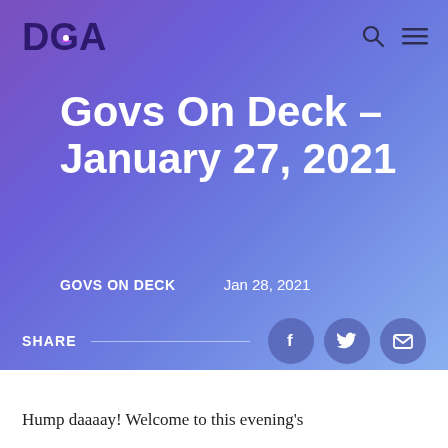DGA
Govs On Deck – January 27, 2021
GOVS ON DECK   Jan 28, 2021
SHARE
Hump daaaay! Welcome to this evening's